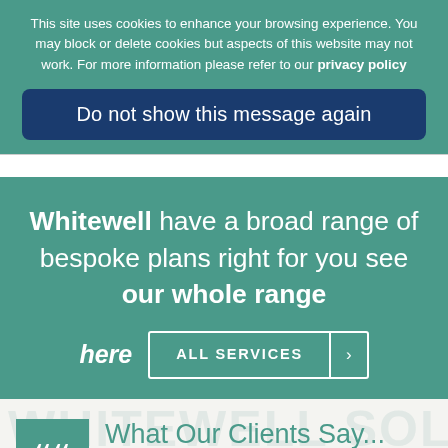This site uses cookies to enhance your browsing experience. You may block or delete cookies but aspects of this website may not work. For more information please refer to our privacy policy
Do not show this message again
Whitewell have a broad range of bespoke plans right for you see our whole range here ALL SERVICES ›
What Our Clients Say...
The divorce was an